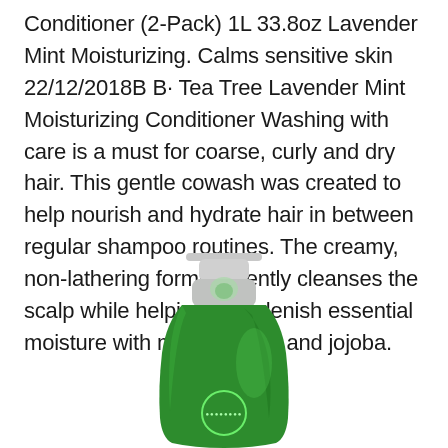Conditioner (2-Pack) 1L 33.8oz Lavender Mint Moisturizing. Calms sensitive skin 22/12/2018B B· Tea Tree Lavender Mint Moisturizing Conditioner Washing with care is a must for coarse, curly and dry hair. This gentle cowash was created to help nourish and hydrate hair in between regular shampoo routines. The creamy, non-lathering formula gently cleanses the scalp while helping to replenish essential moisture with monoi, pequi and jojoba.
[Figure (photo): Green shampoo/conditioner bottle with silver pump cap, partially cropped at bottom of image]